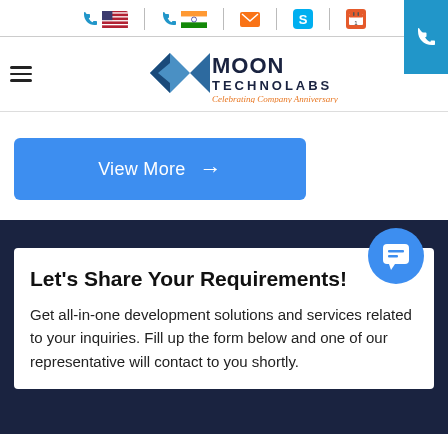Moon Technolabs website header with contact icons (phone US, phone India, email, Skype, calendar) and Moon Technolabs logo
[Figure (logo): Moon Technolabs logo with arrow/diamond icon and text MOON TECHNOLABS, tagline: Celebrating Company Anniversary]
View More →
Let's Share Your Requirements!
Get all-in-one development solutions and services related to your inquiries. Fill up the form below and one of our representative will contact to you shortly.